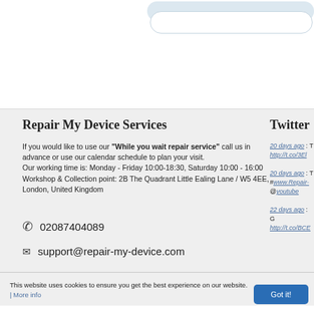[Figure (screenshot): Search bar UI element at top of page, with rounded rectangle input field on light blue-gray background]
Repair My Device Services
If you would like to use our "While you wait repair service" call us in advance or use our calendar schedule to plan your visit.
Our working time is: Monday - Friday 10:00-18:30, Saturday 10:00 - 16:00
Workshop & Collection point: 2B The Quadrant Little Ealing Lane / W5 4EE, London, United Kingdom
📞  02087404089
✉  support@repair-my-device.com
Twitter
20 days ago : T http://t.co/3El 20 days ago : T #www.Repair- @youtube 22 days ago : G http://t.co/BCE
This website uses cookies to ensure you get the best experience on our website. | More info